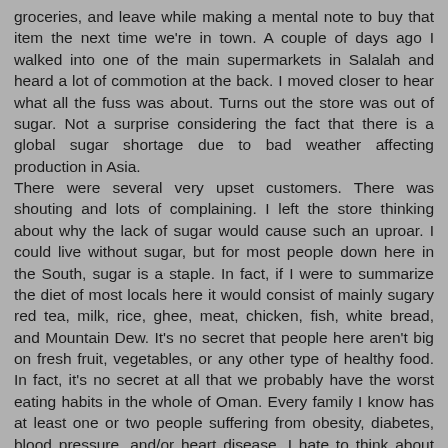groceries, and leave while making a mental note to buy that item the next time we're in town. A couple of days ago I walked into one of the main supermarkets in Salalah and heard a lot of commotion at the back. I moved closer to hear what all the fuss was about. Turns out the store was out of sugar. Not a surprise considering the fact that there is a global sugar shortage due to bad weather affecting production in Asia.
There were several very upset customers. There was shouting and lots of complaining. I left the store thinking about why the lack of sugar would cause such an uproar. I could live without sugar, but for most people down here in the South, sugar is a staple. In fact, if I were to summarize the diet of most locals here it would consist of mainly sugary red tea, milk, rice, ghee, meat, chicken, fish, white bread, and Mountain Dew. It's no secret that people here aren't big on fresh fruit, vegetables, or any other type of healthy food. In fact, it's no secret at all that we probably have the worst eating habits in the whole of Oman. Every family I know has at least one or two people suffering from obesity, diabetes, blood pressure, and/or heart disease. I hate to think about the statistics.